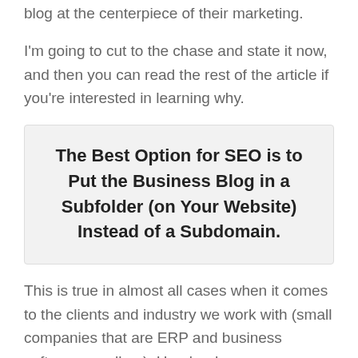blog at the centerpiece of their marketing.
I'm going to cut to the chase and state it now, and then you can read the rest of the article if you're interested in learning why.
The Best Option for SEO is to Put the Business Blog in a Subfolder (on Your Website) Instead of a Subdomain.
This is true in almost all cases when it comes to the clients and industry we work with (small companies that are ERP and business software resellers). Here's why.